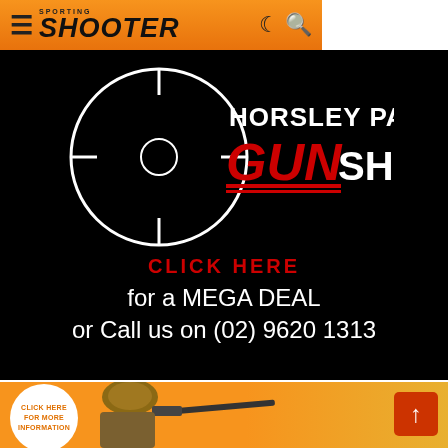SPORTING SHOOTER
[Figure (logo): Horsley Park Gun Shop advertisement on black background with circular crosshair logo, text CLICK HERE for a MEGA DEAL or Call us on (02) 9620 1313]
[Figure (illustration): Orange banner advertisement with white circle containing CLICK HERE FOR MORE INFORMATION text, hunter with camouflage hat, rifle, and orange background with scroll-to-top button]